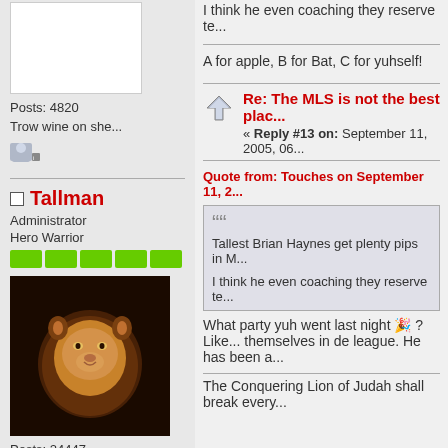[Figure (photo): Forum user avatar placeholder, white box]
Posts: 4820
Trow wine on she...
[Figure (illustration): Forum user icon/badge image]
Tallman
Administrator
Hero Warrior
[Figure (illustration): Five green reputation bar squares]
[Figure (photo): Lion face avatar image]
Posts: 24447
[Figure (illustration): Forum user icon/badge image]
I think he even coaching they reserve te...
A for apple, B for Bat, C for yuhself!
Re: The MLS is not the best plac...
« Reply #13 on: September 11, 2005, 06...
Quote from: Touches on September 11, 2...
Tallest Brian Haynes get plenty pips in M...
I think he even coaching they reserve te...
What party yuh went last night 🎉 ? Like... themselves in de league. He has been a...
The Conquering Lion of Judah shall break every...